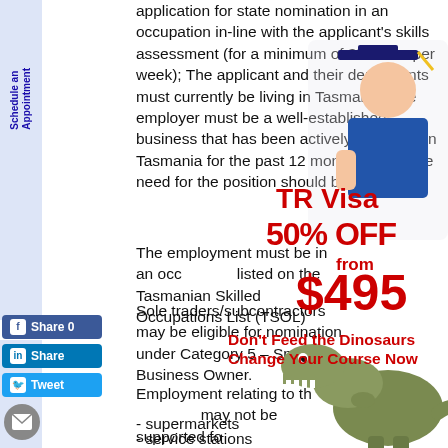application for state nomination in an occupation in-line with the applicant's skills assessment (for a minimum of 35 hours per week); The applicant and their dependants must currently be living in Tasmania; The employer must be a well-established business that has been actively operating in Tasmania for the past 12 months A genuine need for the position should be satisfied.
The employment must be in an occupation listed on the Tasmanian Skilled Occupations List (TSOL).
Sole traders/subcontractors may be eligible for nomination under Category 5 – Small Business Owner.
[Figure (infographic): Promotional overlay with graduation photo, TR Visa 50% OFF from $495 text, dinosaur image, and 'Don't Feed the Dinosaurs Change Your Course Now' text]
Employment relating to the following sectors may not be supported for:
- supermarkets
- service stations
- limited service restaurants
- massage clinics
- taxi/uber driving
- supermarkets
- service stations
- limited service restaurants
- massage clinics
- taxi/uber driving